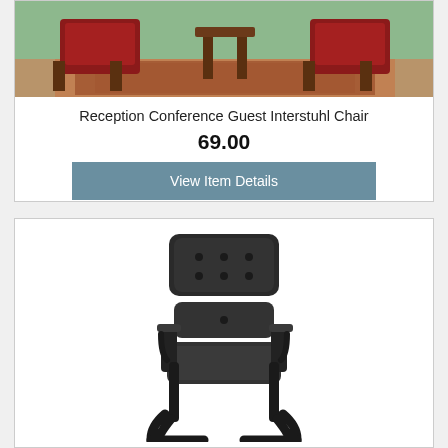[Figure (photo): Top portion of product card showing red chairs on a decorative rug in a green-walled room]
Reception Conference Guest Interstuhl Chair
69.00
View Item Details
[Figure (photo): Black tufted leather guest/visitor chair with cantilever metal frame and armrests]